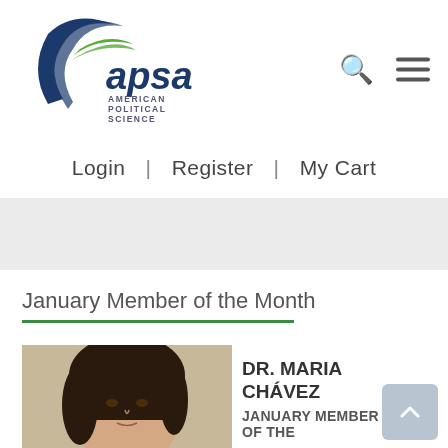[Figure (logo): APSA - American Political Science Association logo with blue arc/swoosh and green accent]
Login  |  Register  | My Cart
[Figure (other): Gray banner area]
January Member of the Month
[Figure (photo): Photo of Dr. Maria Chávez, a woman with dark hair]
DR. MARIA CHÁVEZ
JANUARY MEMBER OF THE